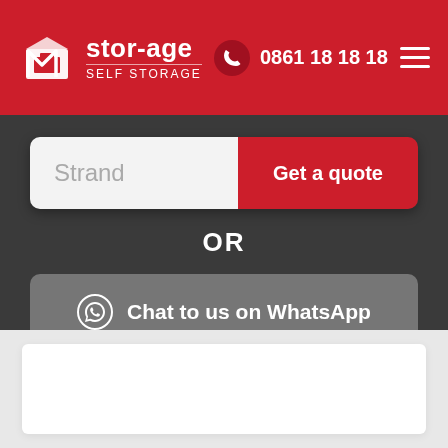[Figure (logo): stor-age self storage logo with white box icon on red background header bar, phone number 0861 18 18 18, and hamburger menu]
Strand
Get a quote
OR
Chat to us on WhatsApp